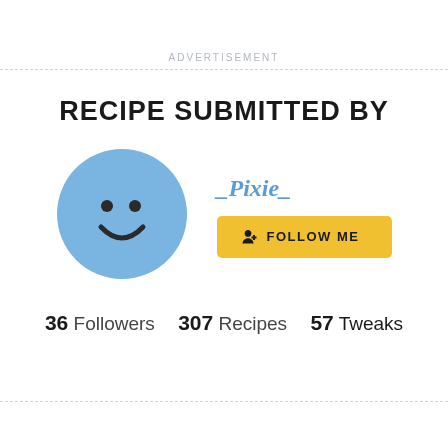ADVERTISEMENT
RECIPE SUBMITTED BY
[Figure (illustration): Blue circle avatar with a simple smiley face (two dot eyes and a curved smile arc), representing a user profile picture.]
_Pixie_
FOLLOW ME
36 Followers  307 Recipes  57 Tweaks